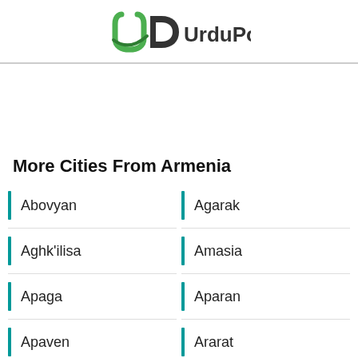UrduPoint
More Cities From Armenia
Abovyan
Agarak
Aghk'ilisa
Amasia
Apaga
Aparan
Apaven
Ararat
Argel
Armavir